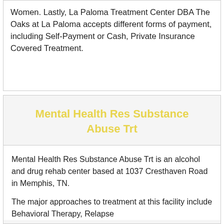Women. Lastly, La Paloma Treatment Center DBA The Oaks at La Paloma accepts different forms of payment, including Self-Payment or Cash, Private Insurance Covered Treatment.
Mental Health Res Substance Abuse Trt
Mental Health Res Substance Abuse Trt is an alcohol and drug rehab center based at 1037 Cresthaven Road in Memphis, TN.
The major approaches to treatment at this facility include Behavioral Therapy, Relapse...